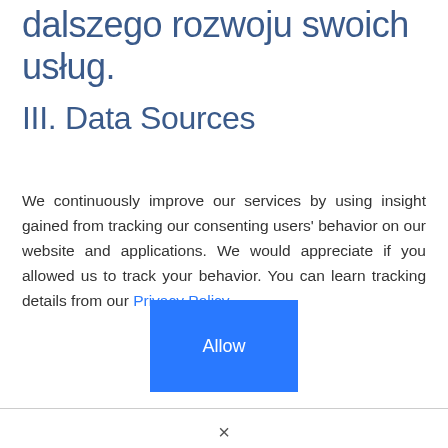dalszego rozwoju swoich usług.
III. Data Sources
We continuously improve our services by using insight gained from tracking our consenting users' behavior on our website and applications. We would appreciate if you allowed us to track your behavior. You can learn tracking details from our Privacy Policy.
[Figure (other): Blue 'Allow' button for cookie/tracking consent]
[Figure (other): Close (×) icon below the divider line]